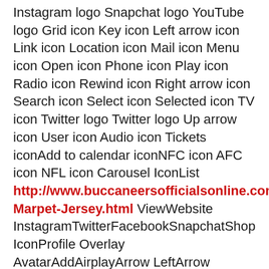Instagram logo Snapchat logo YouTube logo Grid icon Key icon Left arrow icon Link icon Location icon Mail icon Menu icon Open icon Phone icon Play icon Radio icon Rewind icon Right arrow icon Search icon Select icon Selected icon TV icon Twitter logo Twitter logo Up arrow icon User icon Audio icon Tickets iconAdd to calendar iconNFC icon AFC icon NFL icon Carousel IconList http://www.buccaneersofficialsonline.com/Ali-Marpet-Jersey.html ViewWebsite InstagramTwitterFacebookSnapchatShop IconProfile Overlay AvatarAddAirplayArrow LeftArrow RightArrow UpArrow DownAudioBack 5sBack 10sBack 30sCalendarChartCheckDownLeftRightUpChromecast OffChromecast OnCloseClosed CaptionsBench OffBench OnBroad OffBroad OnVertical OffVertical OnCommentDockDoneDownloadDraftFantasyFilter